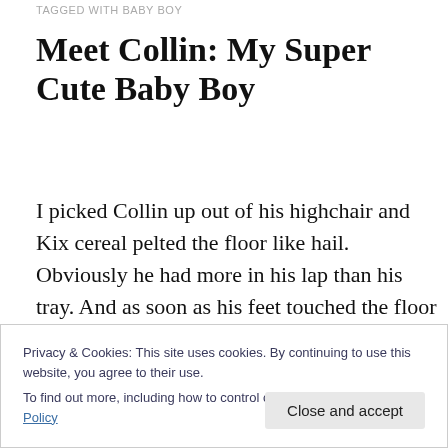TAGGED WITH BABY BOY
Meet Collin: My Super Cute Baby Boy
I picked Collin up out of his highchair and Kix cereal pelted the floor like hail. Obviously he had more in his lap than his tray. And as soon as his feet touched the floor him and Murphy raced to see who could eat the most cereal off the floor. I might as well be talking to the wall when I say, “Collin, don’t eat off the floor!” Normally he is playing in the
Privacy & Cookies: This site uses cookies. By continuing to use this website, you agree to their use.
To find out more, including how to control cookies, see here: Cookie Policy